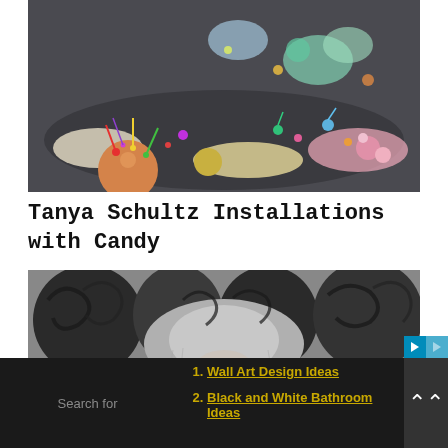[Figure (photo): Colorful candy art installation by Tanya Schultz, showing vibrant pastel candy pieces and spherical forms on a dark surface, viewed from above]
Tanya Schultz Installations with Candy
[Figure (photo): Black and white close-up photograph of curly hair on a person, top-down view]
Search for
Wall Art Design Ideas
Black and White Bathroom Ideas